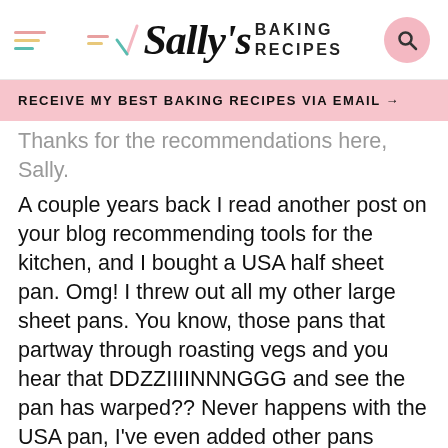Sally's BAKING RECIPES
RECEIVE MY BEST BAKING RECIPES VIA EMAIL →
Thanks for the recommendations here, Sally.
A couple years back I read another post on your blog recommending tools for the kitchen, and I bought a USA half sheet pan. Omg! I threw out all my other large sheet pans. You know, those pans that partway through roasting vegs and you hear that DDZZIIIINNNGGG and see the pan has warped?? Never happens with the USA pan, I've even added other pans because I love their quality.